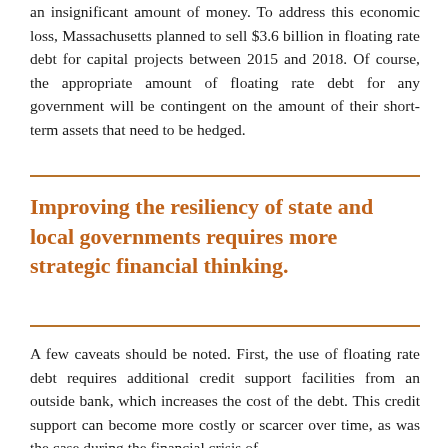an insignificant amount of money. To address this economic loss, Massachusetts planned to sell $3.6 billion in floating rate debt for capital projects between 2015 and 2018. Of course, the appropriate amount of floating rate debt for any government will be contingent on the amount of their short-term assets that need to be hedged.
Improving the resiliency of state and local governments requires more strategic financial thinking.
A few caveats should be noted. First, the use of floating rate debt requires additional credit support facilities from an outside bank, which increases the cost of the debt. This credit support can become more costly or scarcer over time, as was the case during the financial crisis of